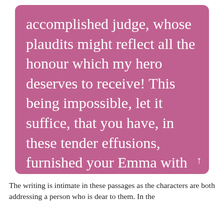accomplished judge, whose plaudits might reflect all the honour which my hero deserves to receive! This being impossible, let it suffice, that you have, in these tender effusions, furnished your Emma with new proofs of tenderness, though none were necessary to complete the measure of either sentiment in my bosom. (35)
The writing is intimate in these passages as the characters are both addressing a person who is dear to them. In the